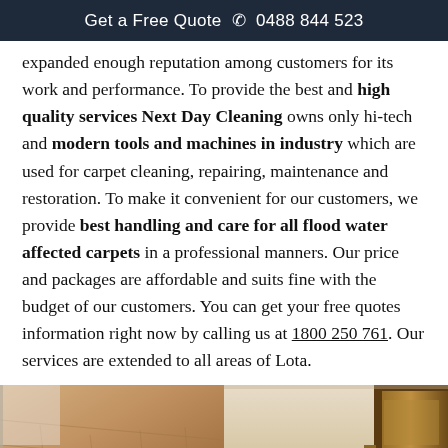Get a Free Quote ☎ 0488 844 523
expanded enough reputation among customers for its work and performance. To provide the best and high quality services Next Day Cleaning owns only hi-tech and modern tools and machines in industry which are used for carpet cleaning, repairing, maintenance and restoration. To make it convenient for our customers, we provide best handling and care for all flood water affected carpets in a professional manners. Our price and packages are affordable and suits fine with the budget of our customers. You can get your free quotes information right now by calling us at 1800 250 761. Our services are extended to all areas of Lota.
[Figure (photo): Two photos side by side: left shows a wooden floor in a room, right shows a wooden bench/furniture near a door]